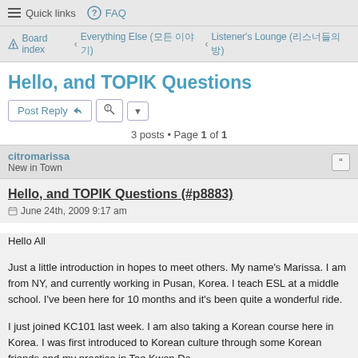☰ Quick links  FAQ
Board index ‹ Everything Else (모든 이야기) ‹ Listener's Lounge (리스너들의 방)
Hello, and TOPIK Questions
Post Reply  🔧  ▾
3 posts • Page 1 of 1
citromarissa
New in Town
Hello, and TOPIK Questions (#p8883)
June 24th, 2009 9:17 am
Hello All

Just a little introduction in hopes to meet others. My name's Marissa. I am from NY, and currently working in Pusan, Korea. I teach ESL at a middle school. I've been here for 10 months and it's been quite a wonderful ride.

I just joined KC101 last week. I am also taking a Korean course here in Korea. I was first introduced to Korean culture through some Korean friends and my practice in Tae Kwon Do.